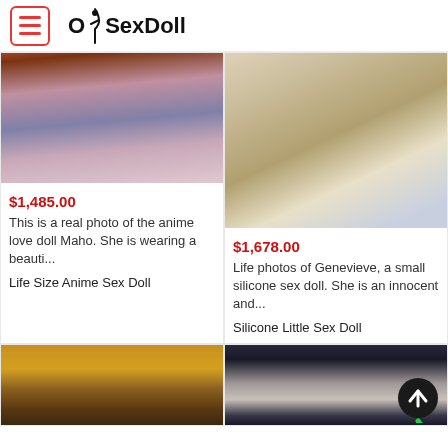OhSexDoll
[Figure (photo): Product photo: anime love doll Maho wearing colorful outfit, view from below skirts on rack]
$1,485.00
This is a real photo of the anime love doll Maho. She is wearing a beauti...
Life Size Anime Sex Doll
[Figure (photo): Product photo: Genevieve small silicone sex doll in white dress on blue surface]
$1,678.00
Life photos of Genevieve, a small silicone sex doll. She is an innocent and...
Silicone Little Sex Doll
[Figure (photo): Product photo: doll with yellow/orange hoodie, brown hair, partially visible]
[Figure (photo): Product photo: doll with light hair and dark headband/accessories on dark background]